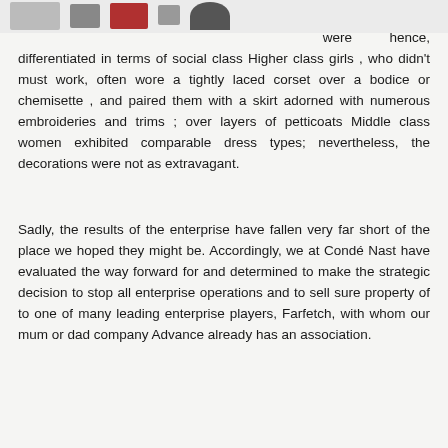[Figure (other): Partial top strip showing small images/icons cropped at the top of the page]
were hence, differentiated in terms of social class Higher class girls , who didn't must work, often wore a tightly laced corset over a bodice or chemisette , and paired them with a skirt adorned with numerous embroideries and trims ; over layers of petticoats Middle class women exhibited comparable dress types; nevertheless, the decorations were not as extravagant.
Sadly, the results of the enterprise have fallen very far short of the place we hoped they might be. Accordingly, we at Condé Nast have evaluated the way forward for and determined to make the strategic decision to stop all enterprise operations and to sell sure property of to one of many leading enterprise players, Farfetch, with whom our mum or dad company Advance already has an association.